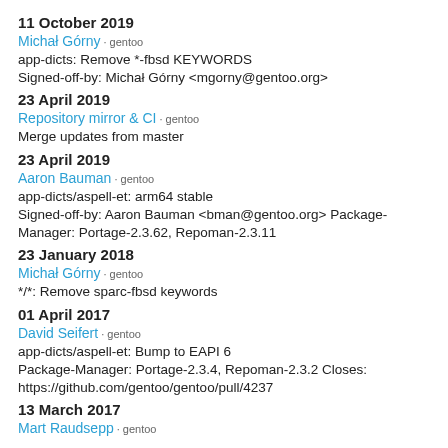11 October 2019
Michał Górny · gentoo
app-dicts: Remove *-fbsd KEYWORDS
Signed-off-by: Michał Górny <mgorny@gentoo.org>
23 April 2019
Repository mirror & CI · gentoo
Merge updates from master
23 April 2019
Aaron Bauman · gentoo
app-dicts/aspell-et: arm64 stable
Signed-off-by: Aaron Bauman <bman@gentoo.org> Package-Manager: Portage-2.3.62, Repoman-2.3.11
23 January 2018
Michał Górny · gentoo
*/*: Remove sparc-fbsd keywords
01 April 2017
David Seifert · gentoo
app-dicts/aspell-et: Bump to EAPI 6
Package-Manager: Portage-2.3.4, Repoman-2.3.2 Closes: https://github.com/gentoo/gentoo/pull/4237
13 March 2017
Mart Raudsepp · gentoo